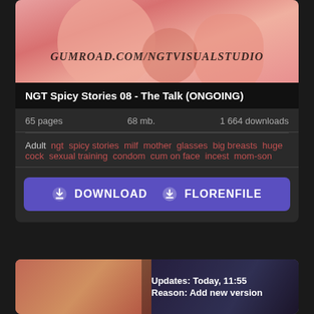[Figure (illustration): Anime-style illustration with watermark text GUMROAD.COM/NGTVISUALSTUDIO]
NGT Spicy Stories 08 - The Talk (ONGOING)
65 pages   68 mb.   1 664 downloads
Adult ngt spicy stories milf mother glasses big breasts huge cock sexual training condom cum on face incest mom-son
[Figure (screenshot): Download button: DOWNLOAD FLORENFILE]
[Figure (illustration): Second card image with overlay text: Updates: Today, 11:55 / Reason: Add new version]